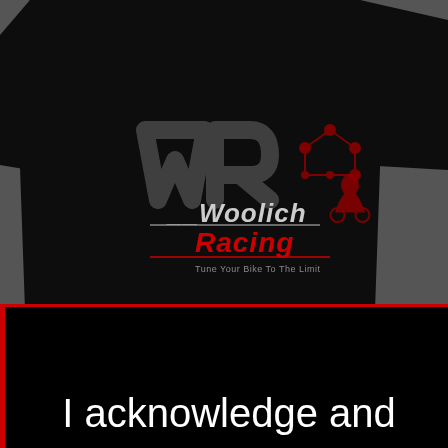[Figure (photo): Photo of a black t-shirt with the Woolich Racing logo — stylized WR letters in dark gray and red with circuit-board graphic elements, 'Woolich Racing' text and tagline 'Tune Your Bike To The Limit'.]
I acknowledge and